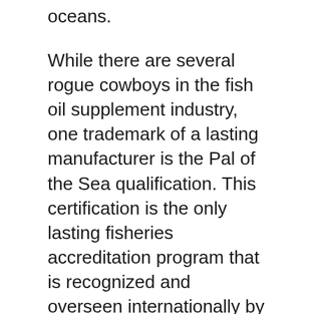oceans.
While there are several rogue cowboys in the fish oil supplement industry, one trademark of a lasting manufacturer is the Pal of the Sea qualification. This certification is the only lasting fisheries accreditation program that is recognized and overseen internationally by a National Certification Body. VitaPost client support kindly supplied the Friend of the Sea certification (RINA, No. FOS92/18) for the angling companion that provides Krill Oil Plus.
Soft Gel Size.
I discovered the hard way is not all fish oil supplements are made the exact same.